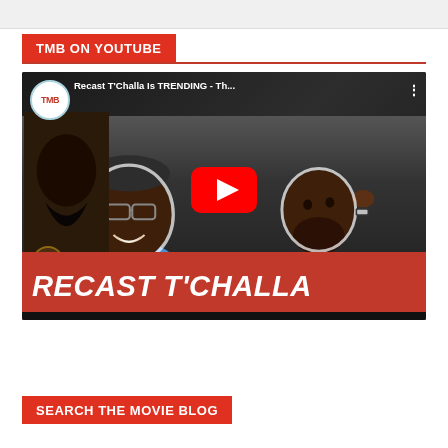TMB ON YOUTUBE
[Figure (screenshot): YouTube video thumbnail for 'Recast T'Challa Is TRENDING - Th...' featuring two men, with TMB logo, YouTube play button, and 'RECAST T'CHALLA' text banner at bottom]
SEARCH THE MOVIE BLOG